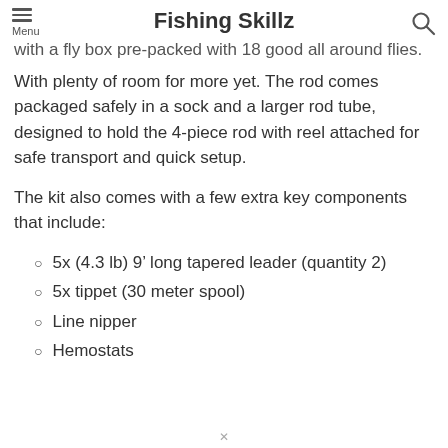Fishing Skillz
with a fly box pre-packed with 18 good all around flies. With plenty of room for more yet. The rod comes packaged safely in a sock and a larger rod tube, designed to hold the 4-piece rod with reel attached for safe transport and quick setup.
The kit also comes with a few extra key components that include:
5x (4.3 lb) 9’ long tapered leader (quantity 2)
5x tippet (30 meter spool)
Line nipper
Hemostats